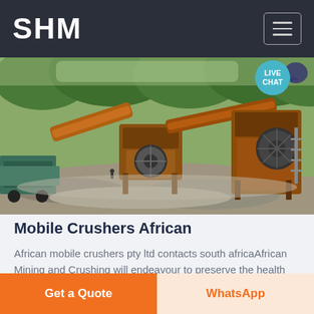SHM
[Figure (photo): Outdoor photo of mobile crushing and screening equipment at a mining site, with conveyor belts, jaw crushers, and heavy machinery on a gravel mound surrounded by green forest.]
Mobile Crushers African
African mobile crushers pty ltd contacts south africaAfrican Mining and Crushing will endeavour to preserve the health and safety of